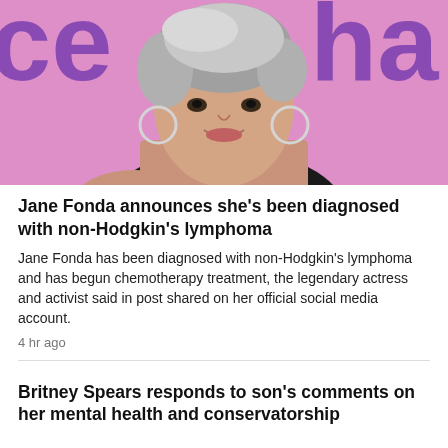[Figure (photo): A woman with short silver-gray hair wearing a black one-shoulder top, smiling, posed against a pink background with large purple text.]
Jane Fonda announces she's been diagnosed with non-Hodgkin's lymphoma
Jane Fonda has been diagnosed with non-Hodgkin's lymphoma and has begun chemotherapy treatment, the legendary actress and activist said in post shared on her official social media account.
4 hr ago
Britney Spears responds to son's comments on her mental health and conservatorship